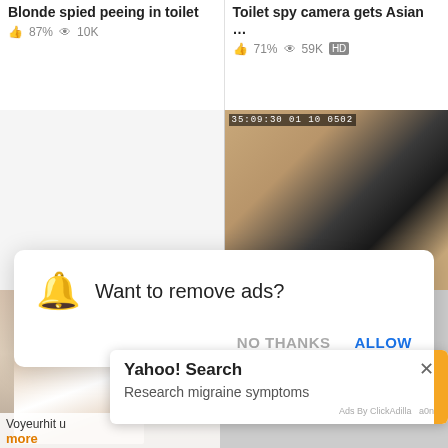Blonde spied peeing in toilet
👍 87%  👁 10K
Toilet spy camera gets Asian …
👍 71%  👁 59K  HD
[Figure (screenshot): Thumbnail area: left column blank/white, right column shows a person sitting in a bathroom stall using a phone, with timestamp overlay '35:09:30 01 10 0502']
[Figure (screenshot): Browser notification popup: bell icon, text 'Want to remove ads?', buttons 'NO THANKS' and 'ALLOW']
Want to remove ads?
NO THANKS
ALLOW
[Figure (screenshot): Bottom area partial thumbnails with woman holding head in hands photo]
Voyeurhit u
more
[Figure (screenshot): Yahoo! Search ad popup with close button, title 'Yahoo! Search', text 'Research migraine symptoms', orange sidebar, 'Ads By ClickAdilla a0n' footer]